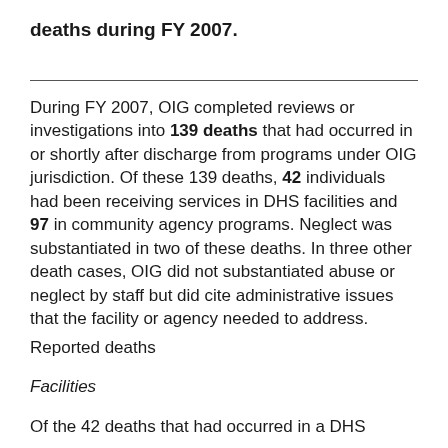deaths during FY 2007.
During FY 2007, OIG completed reviews or investigations into 139 deaths that had occurred in or shortly after discharge from programs under OIG jurisdiction. Of these 139 deaths, 42 individuals had been receiving services in DHS facilities and 97 in community agency programs. Neglect was substantiated in two of these deaths. In three other death cases, OIG did not substantiated abuse or neglect by staff but did cite administrative issues that the facility or agency needed to address.
Reported deaths
Facilities
Of the 42 deaths that had occurred in a DHS